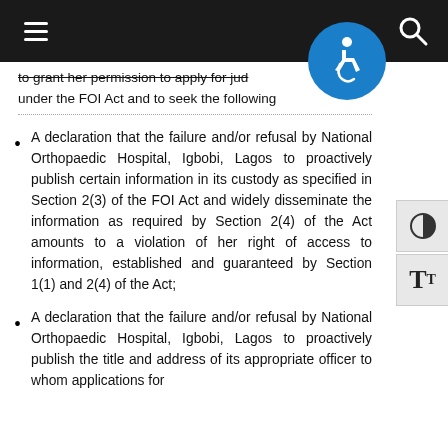[Navigation bar with hamburger menu and search icon]
to grant her permission to apply for judicial review under the FOI Act and to seek the following
A declaration that the failure and/or refusal by National Orthopaedic Hospital, Igbobi, Lagos to proactively publish certain information in its custody as specified in Section 2(3) of the FOI Act and widely disseminate the information as required by Section 2(4) of the Act amounts to a violation of her right of access to information, established and guaranteed by Section 1(1) and 2(4) of the Act;
A declaration that the failure and/or refusal by National Orthopaedic Hospital, Igbobi, Lagos to proactively publish the title and address of its appropriate officer to whom applications for